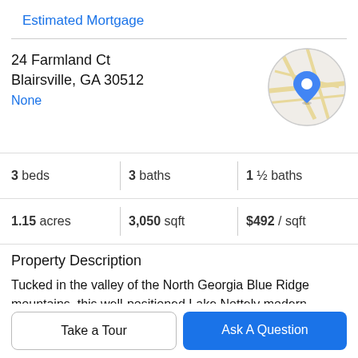Estimated Mortgage
24 Farmland Ct
Blairsville, GA 30512
None
[Figure (map): Circular map thumbnail showing a location pin on a road map of Blairsville, GA area]
3 beds   3 baths   1 ½ baths
1.15 acres   3,050 sqft   $492 / sqft
Property Description
Tucked in the valley of the North Georgia Blue Ridge mountains, this well-positioned Lake Nottely modern farmhouse on 1.15 acres rests among a backdrop of trees and gorgeous front lake views. Come enjoy the beautiful
180 degree view of Duncan Ridge mountains and 270...
Take a Tour
Ask A Question